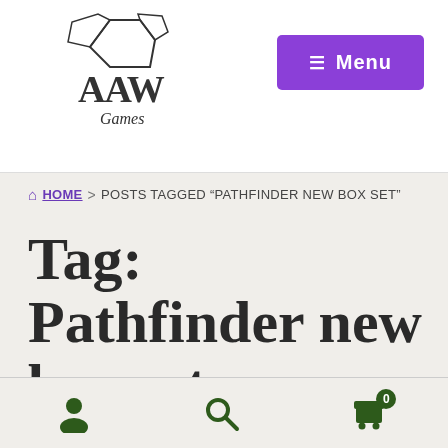AAW Games logo and Menu button
HOME > POSTS TAGGED "PATHFINDER NEW BOX SET"
Tag: Pathfinder new box set
Posted on October 23, 2011 by Jonathan G. Nelson — 12 Comments
User icon, Search icon, Cart icon with badge 0